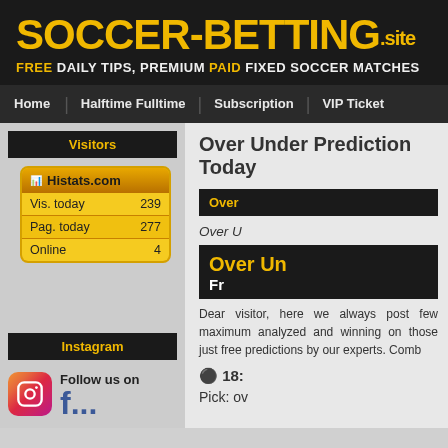SOCCER-BETTING.SITE — FREE DAILY TIPS, PREMIUM PAID FIXED SOCCER MATCHES
Home | Halftime Fulltime | Subscription | VIP Ticket
Visitors
|  |  |
| --- | --- |
| Vis. today | 239 |
| Pag. today | 277 |
| Online | 4 |
Instagram
Follow us on
Over Under Prediction Today
Over
Over U
Over Un
Fr
Dear visitor, here we always post few maximum analyzed and winning on those just free predictions by our experts. Comb
⊙ 18:
Pick: ov